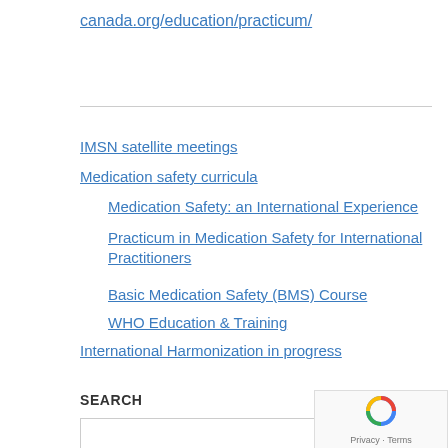canada.org/education/practicum/
IMSN satellite meetings
Medication safety curricula
Medication Safety: an International Experience
Practicum in Medication Safety for International Practitioners
Basic Medication Safety (BMS) Course
WHO Education & Training
International Harmonization in progress
SEARCH